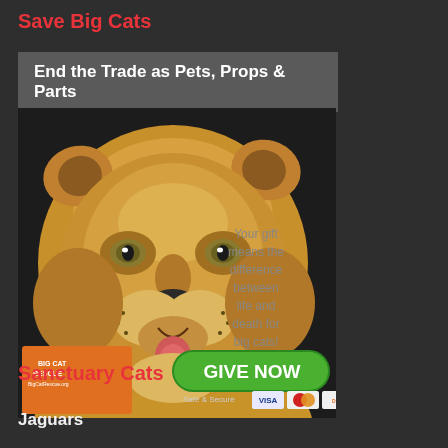Save Big Cats
End the Trade as Pets, Props & Parts
[Figure (infographic): Big Cat Rescue donation advertisement featuring a close-up photo of a lioness face. Text reads 'Your gift means the difference between life and death for big cats!' with a green GIVE NOW button, Big Cat Rescue logo, and payment icons (Safe & Secure, Visa, Mastercard, Discover).]
Sanctuary Cats
Jaguars